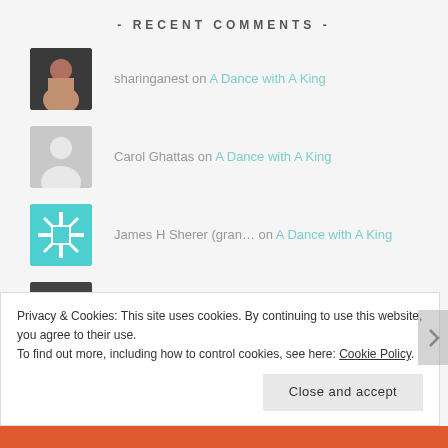- RECENT COMMENTS -
sharinganest on A Dance with A King
Carol Ghattas on A Dance with A King
James H Sherer (gran… on A Dance with A King
sharinganest on DIY Burlap Wreath
Beth Caffy on DIY Burlap Wreath
Privacy & Cookies: This site uses cookies. By continuing to use this website, you agree to their use.
To find out more, including how to control cookies, see here: Cookie Policy
Close and accept